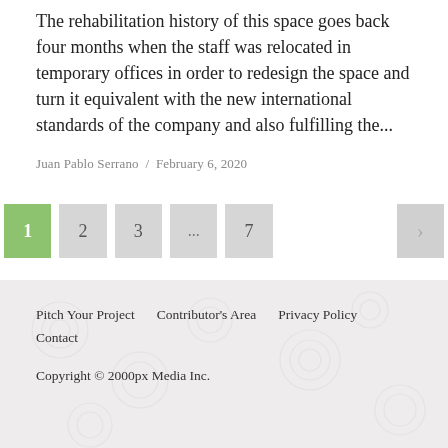The rehabilitation history of this space goes back four months when the staff was relocated in temporary offices in order to redesign the space and turn it equivalent with the new international standards of the company and also fulfilling the...
Juan Pablo Serrano / February 6, 2020
[Figure (other): Pagination navigation with page buttons: 1 (active/green), 2, 3, ..., 7, and a next arrow >]
Pitch Your Project   Contributor’s Area   Privacy Policy   Contact

Copyright © 2000px Media Inc.